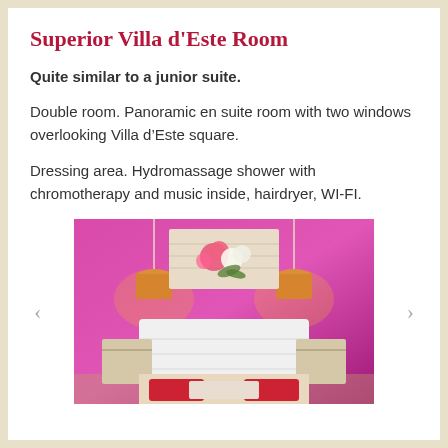Superior Villa d'Este Room
Quite similar to a junior suite.
Double room. Panoramic en suite room with two windows overlooking Villa d’Este square.
Dressing area. Hydromassage shower with chromotherapy and music inside, hairdryer, WI-FI.
[Figure (photo): Hotel room interior with pink/magenta walls, white headboard bed with red pillows, two bedside tables with warm-toned lamps, and a floral canvas artwork on the wall.]